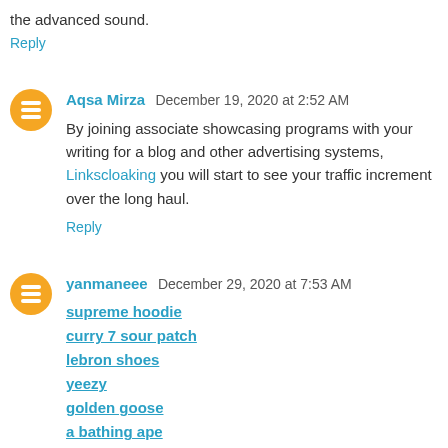the advanced sound.
Reply
Aqsa Mirza  December 19, 2020 at 2:52 AM
By joining associate showcasing programs with your writing for a blog and other advertising systems, Linkscloaking you will start to see your traffic increment over the long haul.
Reply
yanmaneee  December 29, 2020 at 7:53 AM
supreme hoodie
curry 7 sour patch
lebron shoes
yeezy
golden goose
a bathing ape
nike shox
bape
curry shoes